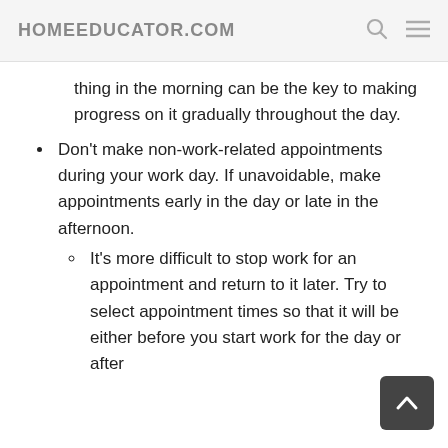HOMEEDUCATOR.COM
thing in the morning can be the key to making progress on it gradually throughout the day.
Don't make non-work-related appointments during your work day. If unavoidable, make appointments early in the day or late in the afternoon.
It's more difficult to stop work for an appointment and return to it later. Try to select appointment times so that it will be either before you start work for the day or after